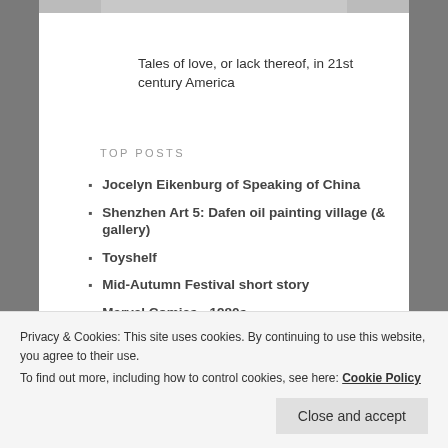Tales of love, or lack thereof, in 21st century America
TOP POSTS
Jocelyn Eikenburg of Speaking of China
Shenzhen Art 5: Dafen oil painting village (& gallery)
Toyshelf
Mid-Autumn Festival short story
Marvel Comics - 1980s
RECENT COMMENTS
Carl Hardy on Taiwan Tales: The Taipei Under…
Privacy & Cookies: This site uses cookies. By continuing to use this website, you agree to their use. To find out more, including how to control cookies, see here: Cookie Policy
Close and accept